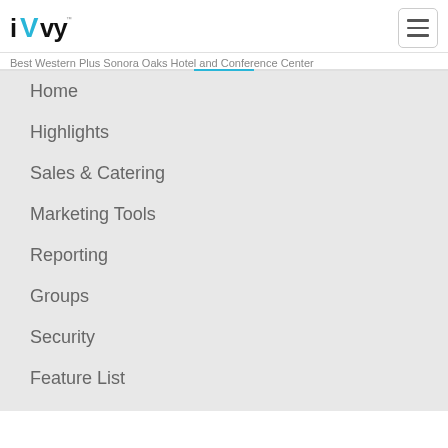iVvy logo and hamburger menu
Best Western Plus Sonora Oaks Hotel and Conference Center
Home
Highlights
Sales & Catering
Marketing Tools
Reporting
Groups
Security
Feature List
Support
Help
Venues